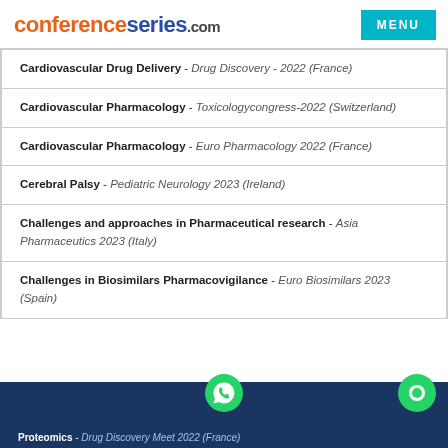conferenceseries.com MENU
Cardiovascular Drug Delivery - Drug Discovery - 2022 (France)
Cardiovascular Pharmacology - Toxicologycongress-2022 (Switzerland)
Cardiovascular Pharmacology - Euro Pharmacology 2022 (France)
Cerebral Palsy - Pediatric Neurology 2023 (Ireland)
Challenges and approaches in Pharmaceutical research - Asia Pharmaceutics 2023 (Italy)
Challenges in Biosimilars Pharmacovigilance - Euro Biosimilars 2023 (Spain)
Proteomics - Drug Discovery Meet 2022 (France)